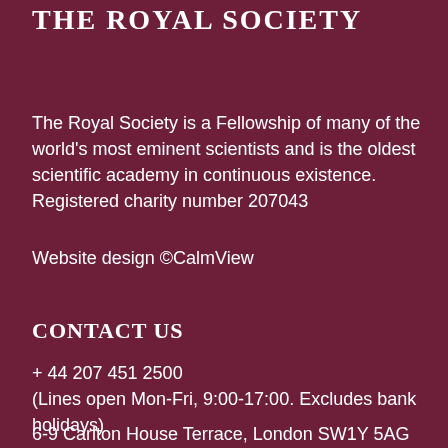THE ROYAL SOCIETY
The Royal Society is a Fellowship of many of the world's most eminent scientists and is the oldest scientific academy in continuous existence.
Registered charity number 207043
Website design ©CalmView
CONTACT US
+ 44 207 451 2500
(Lines open Mon-Fri, 9:00-17:00. Excludes bank holidays)
6-9 Carlton House Terrace, London SW1Y 5AG